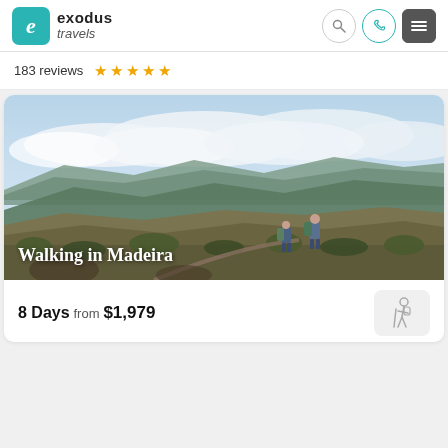exodus travels
183 reviews ★ ★ ★ ★ ★
[Figure (photo): Two hikers with backpacks walking along a mountain ridge trail in Madeira, with dramatic cloud-filled valley views below and rugged peaks in the background.]
Walking in Madeira
8 Days from $1,979